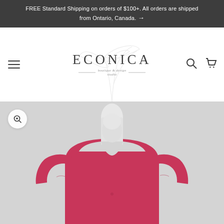FREE Standard Shipping on orders of $100+. All orders are shipped from Ontario, Canada. →
[Figure (logo): Econica boutique & design studio logo with botanical plant illustration watermark, text reads ECONICA with tagline 'boutique & design studio']
[Figure (photo): A headless white mannequin wearing a long-sleeve raspberry/hot pink crew neck top, shown from shoulders to waist on a light grey background. A circular zoom/magnify button appears in the upper left corner of the image.]